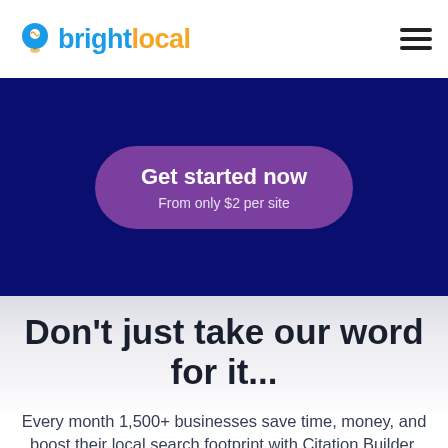brightlocal
[Figure (logo): BrightLocal logo with location pin icon and blue/yellow wordmark]
Get started now
From only $2 per site
Don't just take our word for it...
Every month 1,500+ businesses save time, money, and boost their local search footprint with Citation Builder.